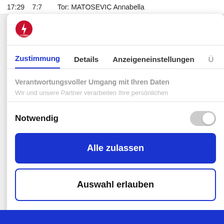17:29   7:7   Tor: MATOSEVIC Annabella
[Figure (logo): Red circular logo with lightning bolt icon and text below]
Zustimmung   Details   Anzeigeneinstellungen   Ü
Verantwortungsvoller Umgang mit Ihren Daten
Wir und unsere Partner verarbeiten Ihre persönlichen
Notwendig
Alle zulassen
Auswahl erlauben
Powered by Cookiebot by Usercentrics